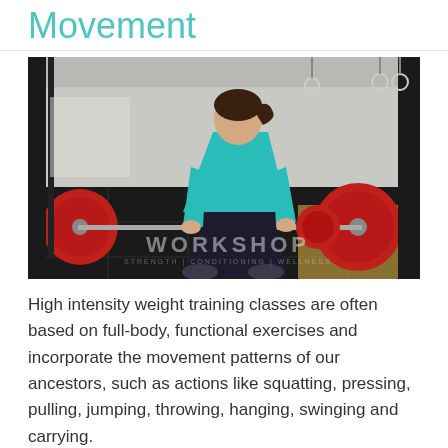Movement
[Figure (photo): A woman in a teal long-sleeve top and black leggings performing a deadlift with a red-plated barbell in a CrossFit-style gym. The gym has black rubber flooring, metal rigs, gymnastic rings, and natural lighting. A 'WORKSHOP' watermark is visible in the bottom right corner.]
High intensity weight training classes are often based on full-body, functional exercises and incorporate the movement patterns of our ancestors, such as actions like squatting, pressing, pulling, jumping, throwing, hanging, swinging and carrying.